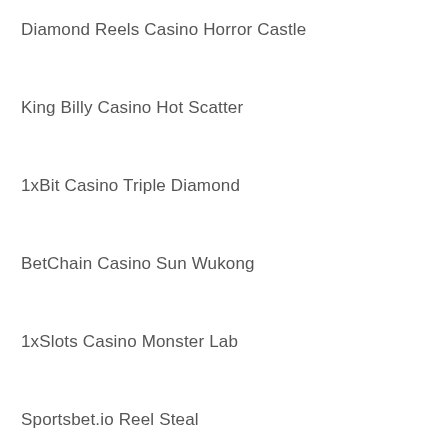Diamond Reels Casino Horror Castle
King Billy Casino Hot Scatter
1xBit Casino Triple Diamond
BetChain Casino Sun Wukong
1xSlots Casino Monster Lab
Sportsbet.io Reel Steal